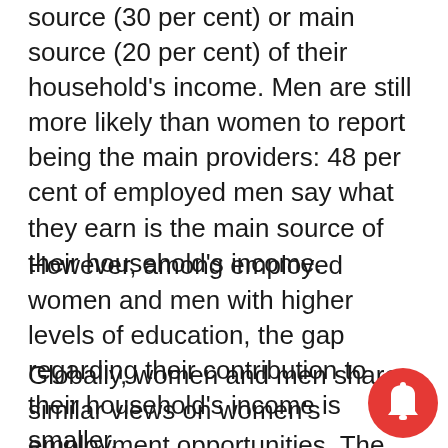source (30 per cent) or main source (20 per cent) of their household's income. Men are still more likely than women to report being the main providers: 48 per cent of employed men say what they earn is the main source of their household's income.
However, among employed women and men with higher levels of education, the gap regarding their contribution to their household's income is smaller.
Globally, women and men share similar views on women's employment opportunities. The report found that, if a woman has similar education and experience to a man, women and men worldwide are most likely to say that she has the same